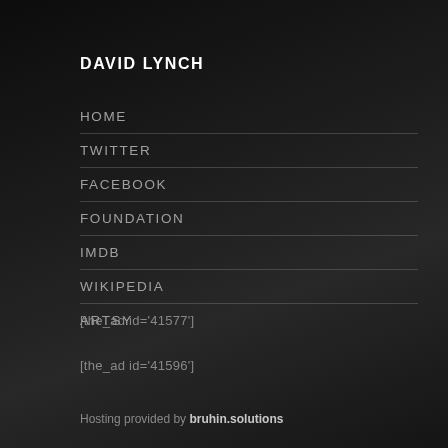DAVID LYNCH
HOME
TWITTER
FACEBOOK
FOUNDATION
IMDB
WIKIPEDIA
ARTSY
[the_ad id='41577']
[the_ad id='41596']
Hosting provided by bruhin.solutions